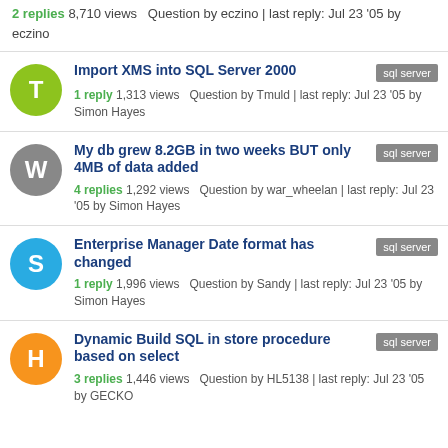2 replies 8,710 views  Question by eczino | last reply: Jul 23 '05 by eczino
Import XMS into SQL Server 2000 — 1 reply 1,313 views  Question by Tmuld | last reply: Jul 23 '05 by Simon Hayes
My db grew 8.2GB in two weeks BUT only 4MB of data added — 4 replies 1,292 views  Question by war_wheelan | last reply: Jul 23 '05 by Simon Hayes
Enterprise Manager Date format has changed — 1 reply 1,996 views  Question by Sandy | last reply: Jul 23 '05 by Simon Hayes
Dynamic Build SQL in store procedure based on select — 3 replies 1,446 views  Question by HL5138 | last reply: Jul 23 '05 by GECKO